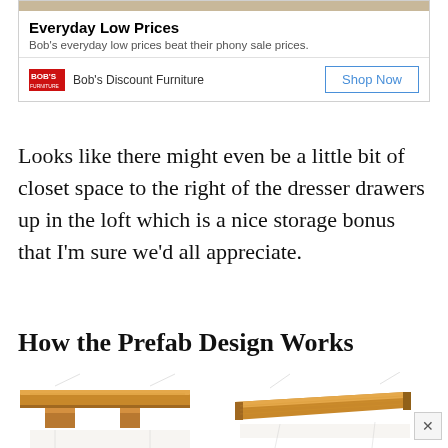[Figure (advertisement): Bob's Discount Furniture advertisement with title 'Everyday Low Prices', subtitle text, brand logo, and Shop Now button]
Looks like there might even be a little bit of closet space to the right of the dresser drawers up in the loft which is a nice storage bonus that I'm sure we'd all appreciate.
How the Prefab Design Works
[Figure (illustration): Two side-by-side illustrations of prefab furniture/cabin design components showing wooden roof/desk panels being assembled]